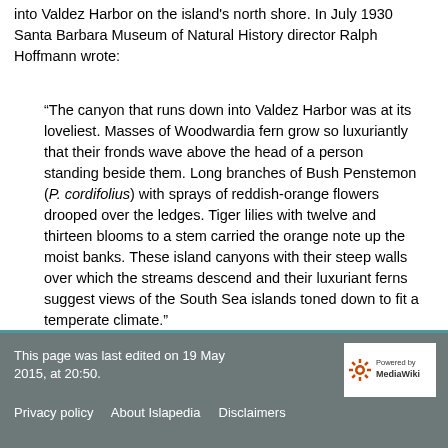into Valdez Harbor on the island's north shore. In July 1930 Santa Barbara Museum of Natural History director Ralph Hoffmann wrote:
“The canyon that runs down into Valdez Harbor was at its loveliest. Masses of Woodwardia fern grow so luxuriantly that their fronds wave above the head of a person standing beside them. Long branches of Bush Penstemon (P. cordifolius) with sprays of reddish-orange flowers drooped over the ledges. Tiger lilies with twelve and thirteen blooms to a stem carried the orange note up the moist banks. These island canyons with their steep walls over which the streams descend and their luxuriant ferns suggest views of the South Sea islands toned down to fit a temperate climate.”
This page was last edited on 19 May 2015, at 20:50.
Privacy policy   About Islapedia   Disclaimers